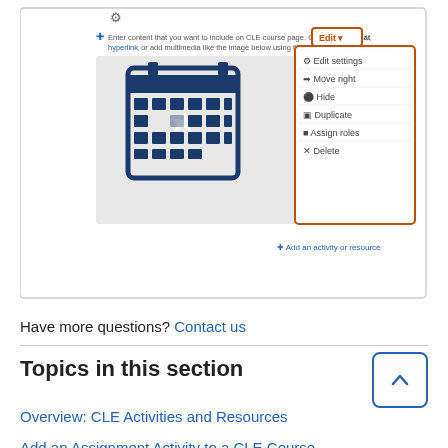[Figure (screenshot): Screenshot of a CLE course page showing a text block with a calendar image, and an open dropdown menu with options: Edit settings, Move right, Hide, Duplicate, Assign roles, Delete. Also shows a gear icon and '+Add an activity or resource' link.]
Have more questions? Contact us
Topics in this section
Overview: CLE Activities and Resources
Add an Assignment Activity to a CLE Course
Set up a Peer Review Assignment